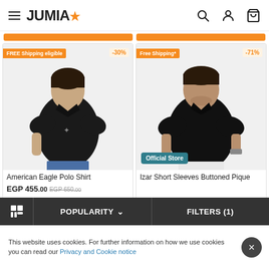JUMIA — navigation header with search, account, cart icons
[Figure (screenshot): Two product cards showing men's polo shirts. Left: American Eagle Polo Shirt with FREE Shipping eligible badge and -30% discount. Right: Izar Short Sleeves Buttoned Pique with Free Shipping* badge, -71% discount, and Official Store label.]
American Eagle Polo Shirt
EGP 455.00 EGP 650.00
Izar Short Sleeves Buttoned Pique
POPULARITY ▾   FILTERS (1)
This website uses cookies. For further information on how we use cookies you can read our Privacy and Cookie notice